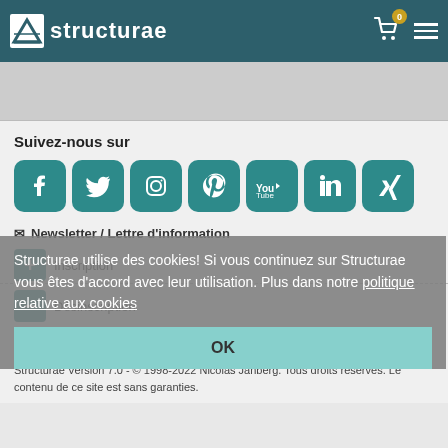Structurae
Suivez-nous sur
[Figure (infographic): Social media icons: Facebook, Twitter, Instagram, Pinterest, YouTube, LinkedIn, Xing]
Structurae utilise des cookies! Si vous continuez sur Structurae vous êtes d'accord avec leur utilisation. Plus dans notre politique relative aux cookies
OK
✉ Newsletter / Lettre d'information
+ Inscription
- Désinscription
⚙ Nos services ∨
Structurae Version 7.0 - © 1998-2022 Nicolas Janberg. Tous droits réservés. Le contenu de ce site est sans garanties.